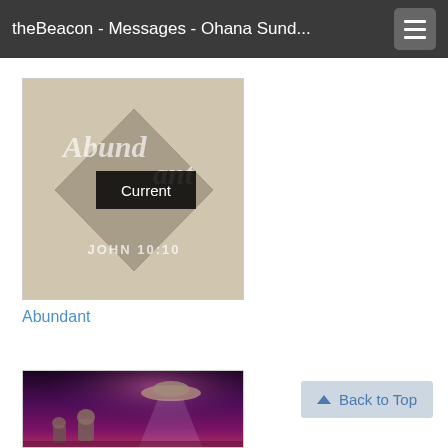theBeacon - Messages - Ohana Sund...
[Figure (screenshot): Thumbnail image for 'Abundant' sermon series with diamond shape graphic, cursive text 'Abundant' and 'JOHN 10:10', with a dark 'Current' badge overlay]
Abundant
[Figure (illustration): Thumbnail image with purple/magenta sci-fi background showing robotic/mechanical figures and a flying saucer with spotlight beam]